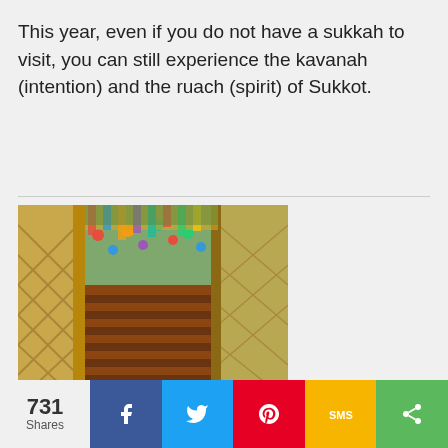This year, even if you do not have a sukkah to visit, you can still experience the kavanah (intention) and the ruach (spirit) of Sukkot.
[Figure (photo): Interior view of a decorated sukkah with wooden lattice walls, colorful hanging decorations, and wooden bench seats visible inside, surrounded by trees]
Building Sukkot for Ourselves and Others
731 Shares